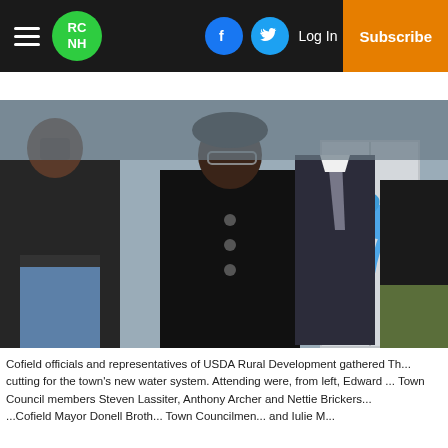RCNH — navigation bar with hamburger menu, logo, Facebook icon, Twitter icon, Log In, Subscribe
[Figure (photo): Group of Cofield officials and USDA Rural Development representatives standing in front of a door with a blue ribbon bow, posed for a ribbon-cutting ceremony for the town's new water system.]
Cofield officials and representatives of USDA Rural Development gathered Th... cutting for the town's new water system. Attending were, from left, Edward ... Town Council members Steven Lassiter, Anthony Archer and Nettie Brickers... ... Cofield Mayor Donell Broth... Town Councilmen... and Iulie M...